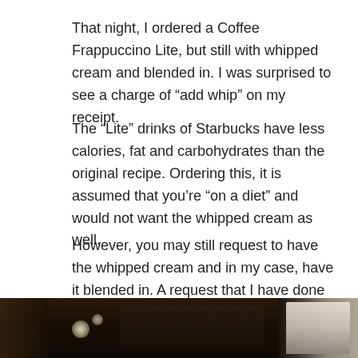That night, I ordered a Coffee Frappuccino Lite, but still with whipped cream and blended in. I was surprised to see a charge of “add whip” on my receipt.
The “Lite” drinks of Starbucks have less calories, fat and carbohydrates than the original recipe. Ordering this, it is assumed that you’re “on a diet” and would not want the whipped cream as well.
However, you may still request to have the whipped cream and in my case, have it blended in. A request that I have done countless times at many Starbucks branches in Metro Manila and without getting charged a single time for it.
First the “no picture taking policy” and now this. Oh well…
[Figure (photo): Dark interior photo of a Starbucks or cafe setting, showing some ambient lighting and a figure in white on the right side.]